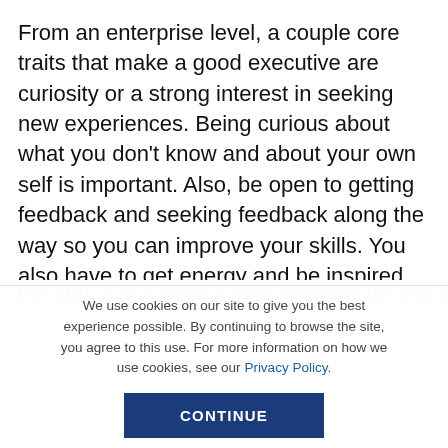From an enterprise level, a couple core traits that make a good executive are curiosity or a strong interest in seeking new experiences. Being curious about what you don't know and about your own self is important. Also, be open to getting feedback and seeking feedback along the way so you can improve your skills. You also have to get energy and be inspired from problem solving. Every day there is something new to tackle and that should excite you! You have to look at the status quo from a new perspective and genuinely
We use cookies on our site to give you the best experience possible. By continuing to browse the site, you agree to this use. For more information on how we use cookies, see our Privacy Policy.
CONTINUE